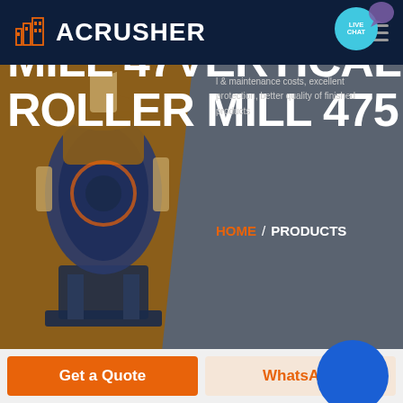[Figure (screenshot): ACRUSHER website header with orange building logo and brand name on dark navy background with hamburger menu icon]
MILL 47VERTICAL ROLLER MILL 475
MRN Pendulum Roller
g Mill
l & maintenance costs, excellent protection, better quality of finished products
HOME / PRODUCTS
[Figure (photo): Industrial vertical roller mill machine on brown background]
[Figure (other): Blue circle button in lower right]
Get a Quote
WhatsApp